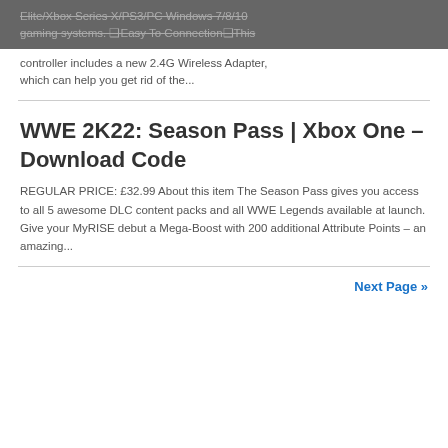Elite/Xbox Series X/PS3/PC Windows 7/8/10 gaming systems. ❑Easy To Connection❑This controller includes a new 2.4G Wireless Adapter, which can help you get rid of the...
WWE 2K22: Season Pass | Xbox One – Download Code
REGULAR PRICE: £32.99 About this item The Season Pass gives you access to all 5 awesome DLC content packs and all WWE Legends available at launch. Give your MyRISE debut a Mega-Boost with 200 additional Attribute Points – an amazing...
Next Page »